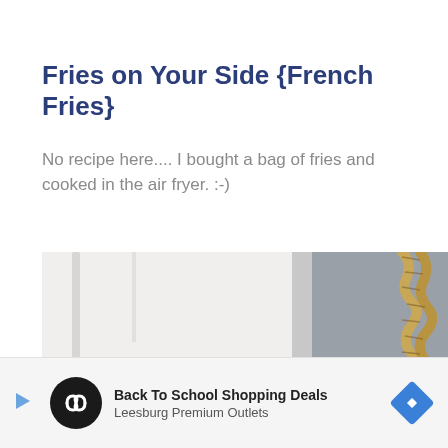Fries on Your Side {French Fries}
No recipe here.... I bought a bag of fries and cooked in the air fryer. :-)
[Figure (photo): Close-up photo of a yellow and white patterned ceramic plate or bowl, with a decorative rope in the upper right and a white wall/door in the background.]
Back To School Shopping Deals
Leesburg Premium Outlets